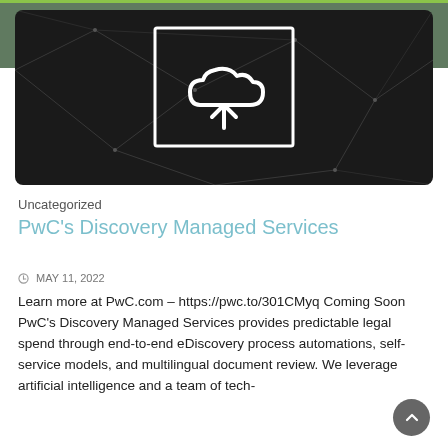[Figure (illustration): Dark background with geometric polygon network pattern and a centered white cloud-upload icon (cloud with upward arrow) inside a white rectangle border]
Uncategorized
PwC's Discovery Managed Services
MAY 11, 2022
Learn more at PwC.com – https://pwc.to/301CMyq Coming Soon PwC's Discovery Managed Services provides predictable legal spend through end-to-end eDiscovery process automations, self-service models, and multilingual document review. We leverage artificial intelligence and a team of tech-